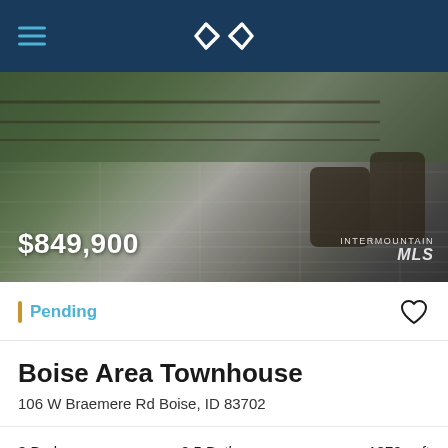Navigation bar with hamburger menu and logo
[Figure (photo): Outdoor patio or deck with large format tiles, glass railing, two lounge chairs, and green grass/trees in background. Price overlay: $849,900. Intermountain MLS watermark.]
Pending
Boise Area Townhouse
106 W Braemere Rd Boise, ID 83702
3 Bed    2.5 Baths    1872 sqft